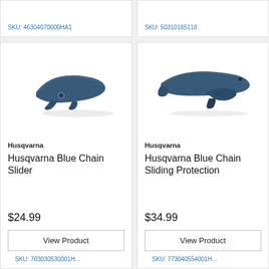SKU: 46304070000HA1
SKU: 50310165118
[Figure (photo): Husqvarna Blue Chain Slider - blue plastic chainsaw chain slider component]
Husqvarna
Husqvarna Blue Chain Slider
$24.99
View Product
SKU: 703030530001H...
[Figure (photo): Husqvarna Blue Chain Sliding Protection - blue plastic chain sliding protection component]
Husqvarna
Husqvarna Blue Chain Sliding Protection
$34.99
View Product
SKU: 773040554001H...